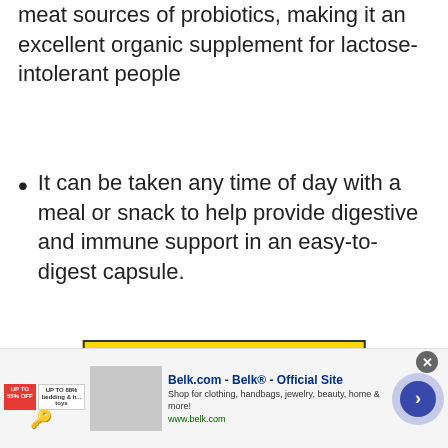meat sources of probiotics, making it an excellent organic supplement for lactose-intolerant people
It can be taken any time of day with a meal or snack to help provide digestive and immune support in an easy-to-digest capsule.
Click For Pricing Details
[Figure (screenshot): Advertisement banner for Belk.com showing logo, product image, text 'Belk.com - Belk® - Official Site', description, and URL www.belk.com with a navigation arrow button]